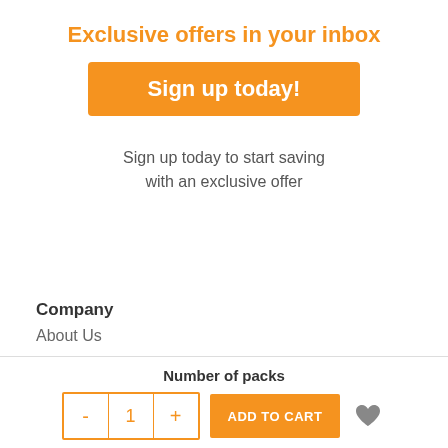Exclusive offers in your inbox
[Figure (other): Orange 'Sign up today!' button]
Sign up today to start saving with an exclusive offer
Company
About Us
Sustainability
Blog
How-To Videos
Patents & Trademarks
Number of packs
[Figure (other): Quantity selector with -, 1, + and ADD TO CART button and heart icon]